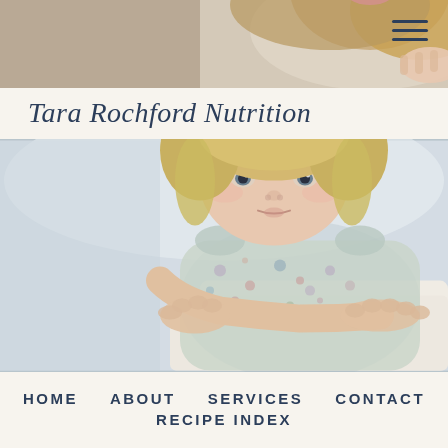[Figure (photo): Top portion of a toddler with blonde hair and blurred background, cropped to show top of head and hands]
Tara Rochford Nutrition
[Figure (photo): Close-up portrait of a blonde toddler girl in a floral dress leaning on a white surface, soft light background]
HOME   ABOUT   SERVICES   CONTACT   RECIPE INDEX